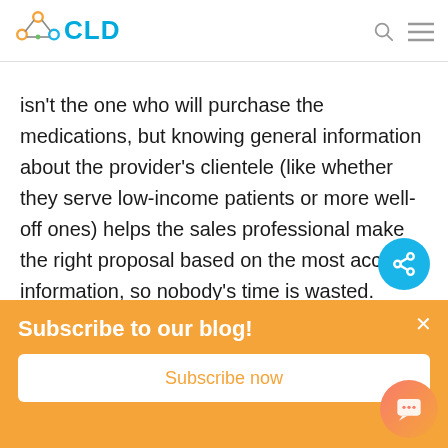CLD
isn't the one who will purchase the medications, but knowing general information about the provider's clientele (like whether they serve low-income patients or more well-off ones) helps the sales professional make the right proposal based on the most accurate information, so nobody's time is wasted.
Subscribe to our blog!
Subscribe now